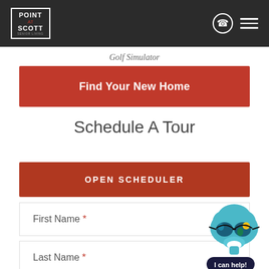[Figure (logo): Point at Scott logo in white box on dark header]
Golf Simulator
Find Your New Home
Schedule A Tour
OPEN SCHEDULER
First Name *
Last Name *
[Figure (illustration): Cartoon chatbot with sunglasses and I can help! speech bubble]
Phone *